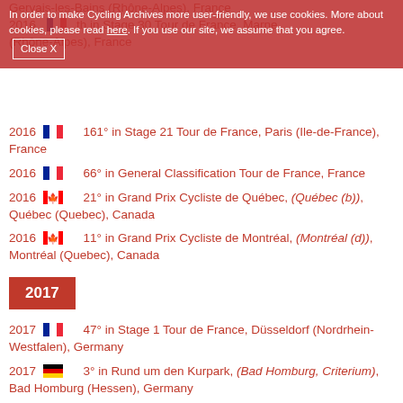Gervais-les-Bains (Rhone-Alpes), France 2016 — th in Stage 30 Tour de France, Marne (Rhone-Alpes), France
In order to make Cycling Archives more user-friendly, we use cookies. More about cookies, please read here. If you use our site, we assume that you agree. Close X
2016 [France flag] 161° in Stage 21 Tour de France, Paris (Ile-de-France), France
2016 [France flag] 66° in General Classification Tour de France, France
2016 [Canada flag] 21° in Grand Prix Cycliste de Québec, (Québec (b)), Québec (Quebec), Canada
2016 [Canada flag] 11° in Grand Prix Cycliste de Montréal, (Montréal (d)), Montréal (Quebec), Canada
2017
2017 [France flag] 47° in Stage 1 Tour de France, Düsseldorf (Nordrhein-Westfalen), Germany
2017 [Germany flag] 3° in Rund um den Kurpark, (Bad Homburg, Criterium), Bad Homburg (Hessen), Germany
2017 [Germany flag] 1° in Wangen, Criterium, Wangen (Baden-Wurttemberg), Germany
2018